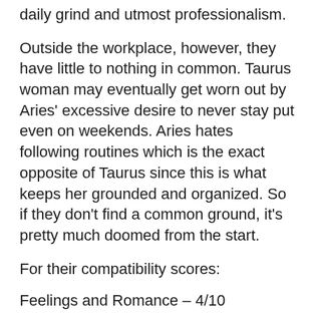daily grind and utmost professionalism.
Outside the workplace, however, they have little to nothing in common. Taurus woman may eventually get worn out by Aries' excessive desire to never stay put even on weekends. Aries hates following routines which is the exact opposite of Taurus since this is what keeps her grounded and organized. So if they don't find a common ground, it's pretty much doomed from the start.
For their compatibility scores:
Feelings and Romance – 4/10
Trust and Communication- 3/10
Personal Values- 7/10